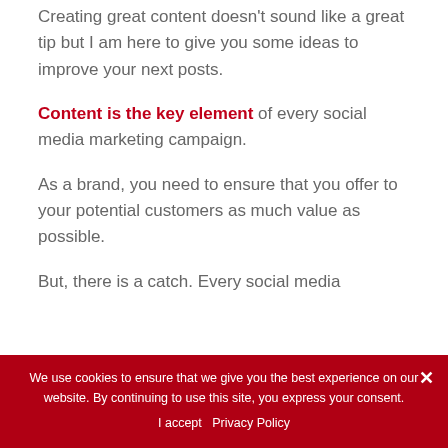Creating great content doesn't sound like a great tip but I am here to give you some ideas to improve your next posts.
Content is the key element of every social media marketing campaign.
As a brand, you need to ensure that you offer to your potential customers as much value as possible.
But, there is a catch. Every social media
We use cookies to ensure that we give you the best experience on our website. By continuing to use this site, you express your consent. I accept  Privacy Policy